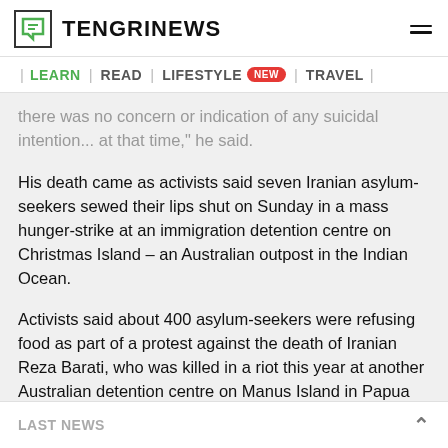TENGRINEWS
| LEARN | READ | LIFESTYLE NEW | TRAVEL |
there was no concern or indication of any suicidal intention... at that time," he said.
His death came as activists said seven Iranian asylum-seekers sewed their lips shut on Sunday in a mass hunger-strike at an immigration detention centre on Christmas Island – an Australian outpost in the Indian Ocean.
Activists said about 400 asylum-seekers were refusing food as part of a protest against the death of Iranian Reza Barati, who was killed in a riot this year at another Australian detention centre on Manus Island in Papua New
LAST NEWS